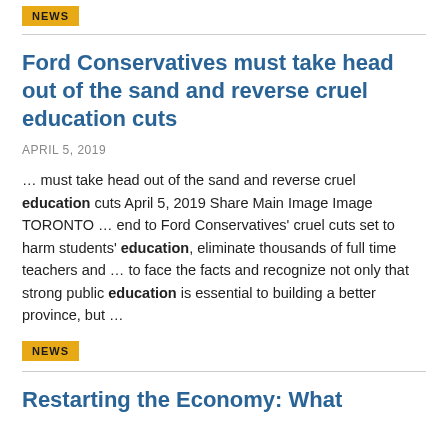NEWS
Ford Conservatives must take head out of the sand and reverse cruel education cuts
APRIL 5, 2019
... must take head out of the sand and reverse cruel education cuts April 5, 2019 Share Main Image Image TORONTO ... end to Ford Conservatives' cruel cuts set to harm students' education, eliminate thousands of full time teachers and ... to face the facts and recognize not only that strong public education is essential to building a better province, but ...
NEWS
Restarting the Economy: What